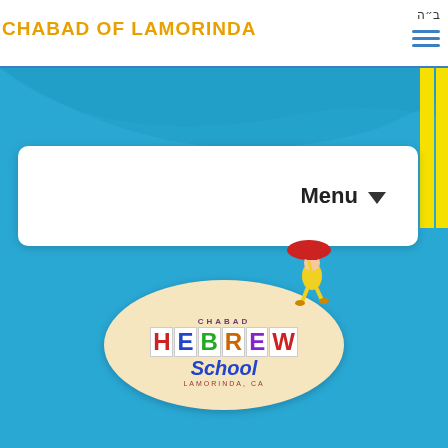CHABAD OF LAMORINDA
[Figure (screenshot): Website header with blue teal background containing a white rounded rectangle menu dropdown and the Chabad Hebrew School logo with a cartoon child walking with red umbrella]
CHABAD OF LAMORINDA
[Figure (logo): Chabad Hebrew School logo: oval shape with colorful block letters spelling HEBREW, cursive School text below, CHABAD above, LAMORINDA CA below, with cartoon child holding red umbrella]